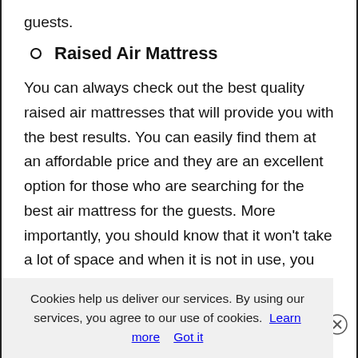guests.
Raised Air Mattress
You can always check out the best quality raised air mattresses that will provide you with the best results. You can easily find them at an affordable price and they are an excellent option for those who are searching for the best air mattress for the guests. More importantly, you should know that it won't take a lot of space and when it is not in use, you can deflate it and place anywhere you want in your house. It is the best way to proceed when you are about to choose the perfect air mattress for the guests.
Cookies help us deliver our services. By using our services, you agree to our use of cookies. Learn more Got it